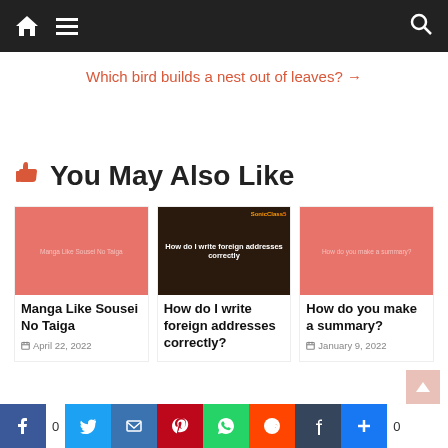Navigation bar with home, menu, and search icons
Which bird builds a nest out of leaves? →
👍 You May Also Like
[Figure (screenshot): Card thumbnail - salmon/coral colored image with faint text: Manga Like Sousei No Taiga]
Manga Like Sousei No Taiga
April 22, 2022
[Figure (screenshot): Card thumbnail dark brown background with text: How do I write foreign addresses correctly, and SonicClass logo]
How do I write foreign addresses correctly?
[Figure (screenshot): Card thumbnail - salmon/coral colored image with faint text: How do you make a summary?]
How do you make a summary?
January 9, 2022
Share buttons: Facebook 0, Twitter, Mail, Pinterest, WhatsApp, Reddit, Tumblr, Plus 0